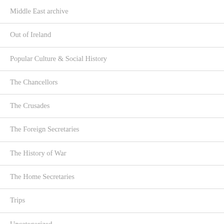Middle East archive
Out of Ireland
Popular Culture & Social History
The Chancellors
The Crusades
The Foreign Secretaries
The History of War
The Home Secretaries
Trips
Uncategorized